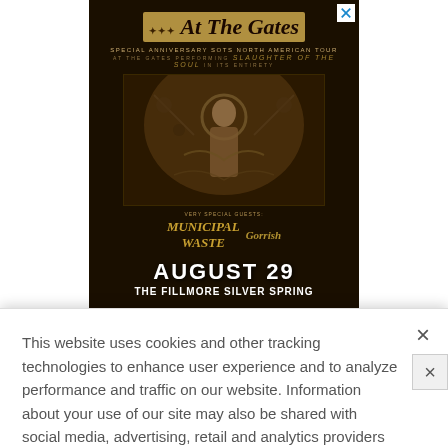[Figure (illustration): Concert advertisement for 'At The Gates' - Special Anniversary SOTS North American Tour featuring Municipal Waste and another band. Event: August 29, The Fillmore Silver Spring. Dark background with religious iconography artwork.]
This website uses cookies and other tracking technologies to enhance user experience and to analyze performance and traffic on our website. Information about your use of our site may also be shared with social media, advertising, retail and analytics providers and partners. Privacy Policy
[Figure (illustration): Bottom banner ad for 'At The Gates' concert - August 29, The Fillmore Silver Spring. Small horizontal format with band logo on left and date/venue on right.]